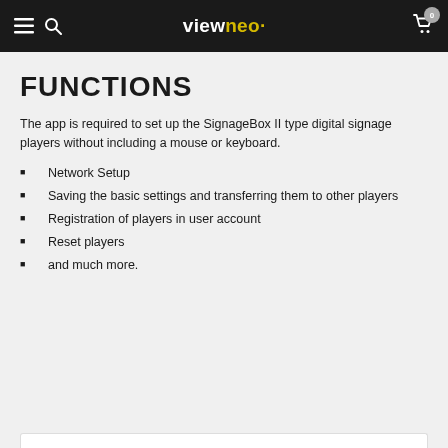viewneo — navigation header with hamburger menu, search icon, logo, and cart
FUNCTIONS
The app is required to set up the SignageBox II type digital signage players without including a mouse or keyboard.
Network Setup
Saving the basic settings and transferring them to other players
Registration of players in user account
Reset players
and much more.